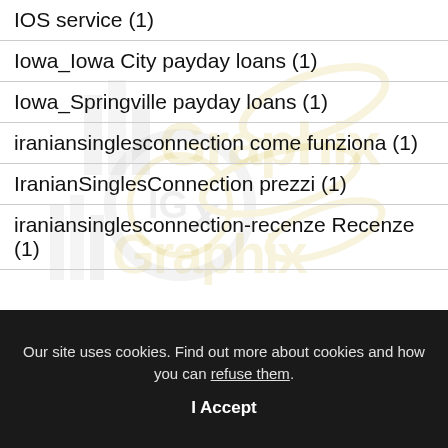IOS service (1)
Iowa_Iowa City payday loans (1)
Iowa_Springville payday loans (1)
iraniansinglesconnection come funziona (1)
IranianSinglesConnection prezzi (1)
iraniansinglesconnection-recenze Recenze (1)
Our site uses cookies. Find out more about cookies and how you can refuse them. I Accept